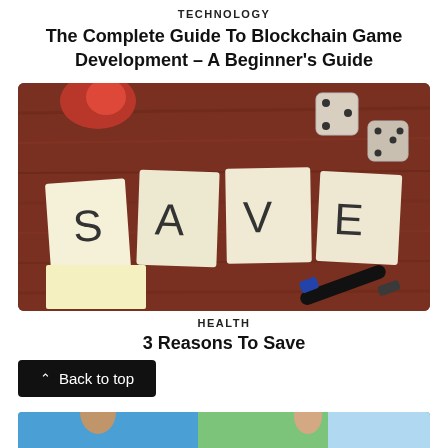TECHNOLOGY
The Complete Guide To Blockchain Game Development – A Beginner's Guide
[Figure (photo): Photo of sticky notes spelling SAVE on a wooden table with dice and a marker pen]
HEALTH
3 Reasons To Save
[Figure (photo): Partial bottom image, appears to show people, mostly cropped off-screen]